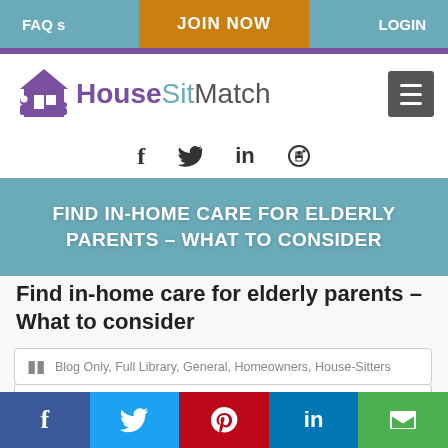FAQ s  |  JOIN NOW  |  LOGIN
[Figure (logo): HouseSit Match logo with house icon and people silhouettes in purple]
[Figure (infographic): Social media icons: Facebook, Twitter, LinkedIn, Pinterest]
FIND IN-HOME CARE FOR ELDERLY PARENTS – WHAT TO CONSIDER
Find in-home care for elderly parents – What to consider
Blog Only, Full Library, General, Homeowners, House-Sitters
elder care, help at home, helping elderly parents in home care, in...
Share buttons: Facebook, Twitter, Pinterest, LinkedIn, Email